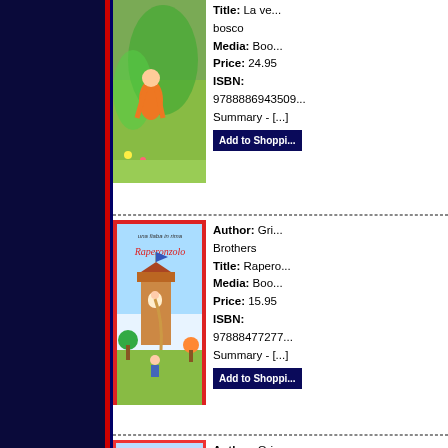[Figure (illustration): Book cover: fairy tale illustration with a girl in orange running through a green meadow]
Title: La ve... bosco
Media: Boo...
Price: 24.95
ISBN: 9788886943509...
Summary - [...]
[Figure (illustration): Book cover: Raperonzolo - illustrated fairy tale cover with a tower, girl, and colorful landscape]
Author: Gri... Brothers
Title: Rapero...
Media: Boo...
Price: 15.95
ISBN: 97888477277...
Summary - [...]
[Figure (illustration): Book cover: 'il libro che vorrei' - illustrated cover with children and a book]
Author: Gri...
Title: Il libro... vorrei
Media: Boo...
Price: 26.95